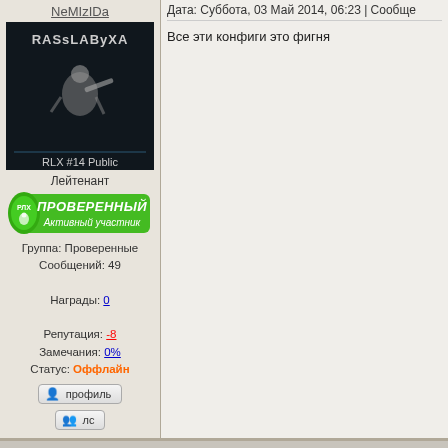NeMIzIDa
Дата: Суббота, 03 Май 2014, 06:23 | Сообще
[Figure (photo): Avatar image with RASsLAByXA and RLX #14 Public text on dark background with game character silhouette]
Лейтенант
[Figure (illustration): Green badge with РЛХ logo, text ПРОВЕРЕННЫЙ Активный участник]
Группа: Проверенные
Сообщений: 49
Награды: 0
Репутация: -8
Замечания: 0%
Статус: Оффлайн
профиль
лс
Все эти конфиги это фигня
Roccate
Дата: Пятница, 05 Июн 2015, 22:59 | Сообще
[Figure (illustration): Avatar with blue wolf/dragon head logo on dark background]
NeMIzIDa, Не согласен с тобой. Для игрока к конфиг необходим.
Сообщение отредактирова